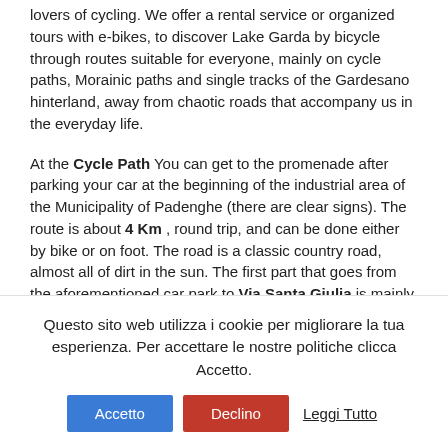lovers of cycling. We offer a rental service or organized tours with e-bikes, to discover Lake Garda by bicycle through routes suitable for everyone, mainly on cycle paths, Morainic paths and single tracks of the Gardesano hinterland, away from chaotic roads that accompany us in the everyday life.
At the Cycle Path You can get to the promenade after parking your car at the beginning of the industrial area of the Municipality of Padenghe (there are clear signs). The route is about 4 Km , round trip, and can be done either by bike or on foot. The road is a classic country road, almost all of dirt in the sun. The first part that goes from the aforementioned car park to Via Santa Giulia is mainly in the shade and flat and runs along a stream, the second part of the walk continues with the wooded escarpment to the left and right with fields
Questo sito web utilizza i cookie per migliorare la tua esperienza. Per accettare le nostre politiche clicca Accetto.